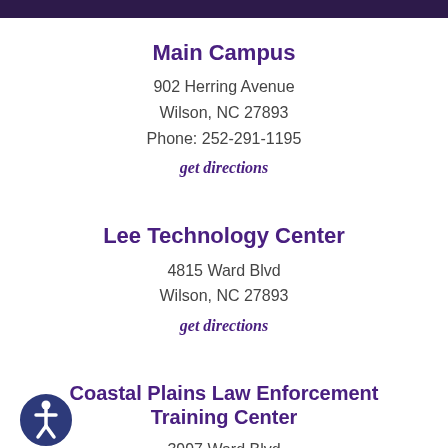Main Campus
902 Herring Avenue
Wilson, NC 27893
Phone: 252-291-1195
get directions
Lee Technology Center
4815 Ward Blvd
Wilson, NC 27893
get directions
Coastal Plains Law Enforcement Training Center
3997 Ward Blvd
Wilson, NC 27893